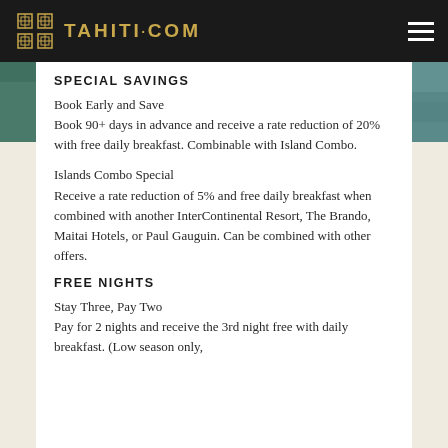TAHITI·COM
SPECIAL SAVINGS
Book Early and Save
Book 90+ days in advance and receive a rate reduction of 20% with free daily breakfast. Combinable with Island Combo.
Islands Combo Special
Receive a rate reduction of 5% and free daily breakfast when combined with another InterContinental Resort, The Brando, Maitai Hotels, or Paul Gauguin. Can be combined with other offers.
FREE NIGHTS
Stay Three, Pay Two
Pay for 2 nights and receive the 3rd night free with daily breakfast. (Low season only,